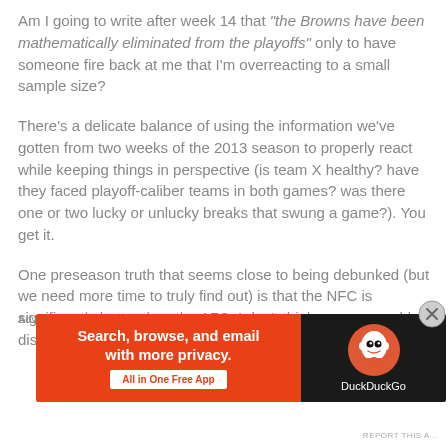Am I going to write after week 14 that "the Browns have been mathematically eliminated from the playoffs" only to have someone fire back at me that I'm overreacting to a small sample size?
There's a delicate balance of using the information we've gotten from two weeks of the 2013 season to properly react while keeping things in perspective (is team X healthy? have they faced playoff-caliber teams in both games? was there one or two lucky or unlucky breaks that swung a game?). You get it.
One preseason truth that seems close to being debunked (but we need more time to truly find out) is that the NFC is significantly better than the AFC. I don't think anyone would disagree that the top tier of the NFC
Advertisements
[Figure (other): DuckDuckGo advertisement banner with orange left panel showing 'Search, browse, and email with more privacy. All in One Free App' and dark right panel with DuckDuckGo logo and name.]